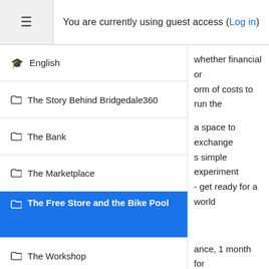You are currently using guest access (Log in)
English
The Story Behind Bridgedale360
The Bank
The Marketplace
The Free Store and the Bike Pool
The Workshop
The Compost Pile
The River and the Sea
whether financial or orm of costs to run the
a space to exchange s simple experiment - get ready for a world
ance, 1 month for